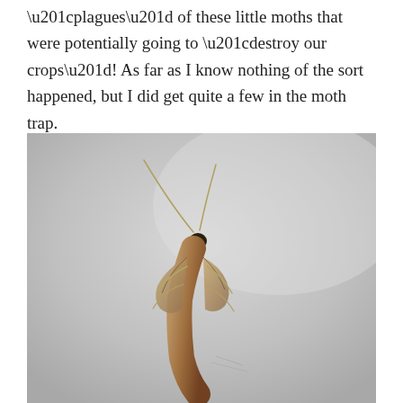“plagues” of these little moths that were potentially going to “destroy our crops”! As far as I know nothing of the sort happened, but I did get quite a few in the moth trap.
[Figure (photo): Close-up photograph of a small moth viewed from above against a light grey background. The moth has long thin antennae extending upward, a small dark head, pale yellowish-green legs, and a brown/tan elongated body with darker brown patterning on the wings.]